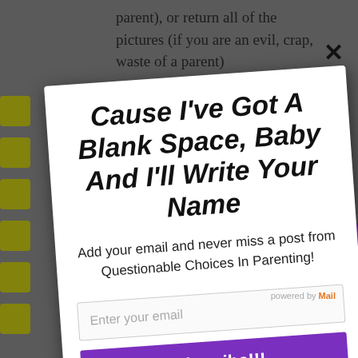parent), or return all of the pictures (if you are an evil, crap, waste of a parent)
[Figure (screenshot): Email subscription modal popup overlaid on a blog page. The modal is slightly rotated and contains a headline, subheading, email input field, and subscribe button.]
Cause I've Got A Blank Space, Baby
And I'll Write Your Name
Add your email and never miss a post from Questionable Choices In Parenting!
Enter your email
Subscribe!!!
powered by Mail